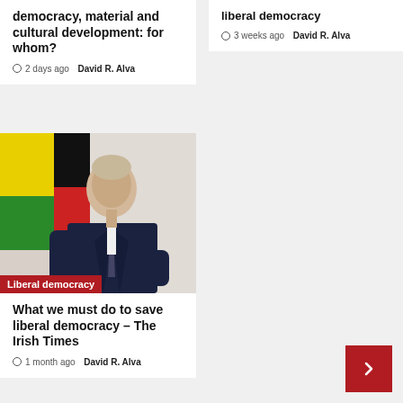democracy, material and cultural development: for whom?
2 days ago  David R. Alva
liberal democracy
3 weeks ago  David R. Alva
[Figure (photo): Man in dark suit seated, with colorful flag or emblem in background. Category tag 'Liberal democracy' overlaid at bottom left.]
What we must do to save liberal democracy – The Irish Times
1 month ago  David R. Alva